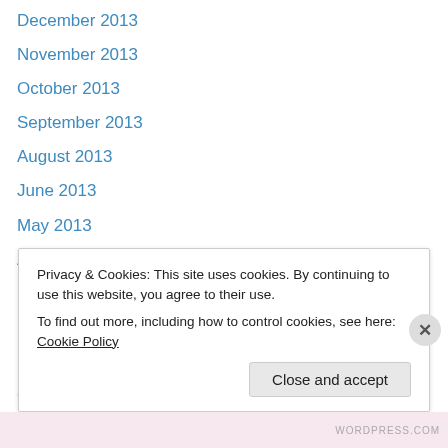December 2013
November 2013
October 2013
September 2013
August 2013
June 2013
May 2013
April 2013
March 2013
December 2012
November 2012
October 2012
September 2012
August 2012
Privacy & Cookies: This site uses cookies. By continuing to use this website, you agree to their use.
To find out more, including how to control cookies, see here: Cookie Policy
Close and accept